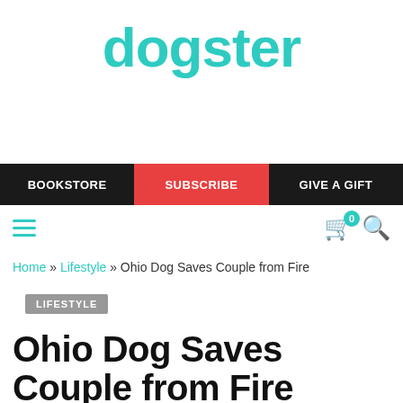dogster
BOOKSTORE | SUBSCRIBE | GIVE A GIFT
Home » Lifestyle » Ohio Dog Saves Couple from Fire
LIFESTYLE
Ohio Dog Saves Couple from Fire